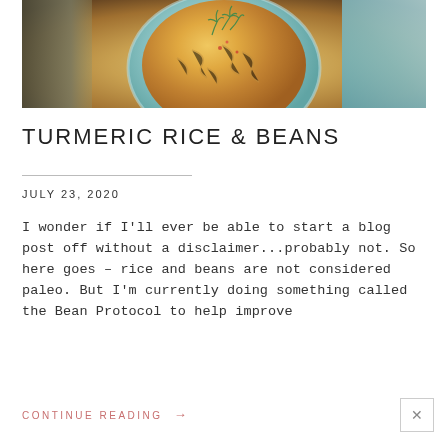[Figure (photo): Overhead photo of a bowl of turmeric rice and beans garnished with fresh dill, with a decorative cloth in the background.]
TURMERIC RICE & BEANS
JULY 23, 2020
I wonder if I'll ever be able to start a blog post off without a disclaimer...probably not. So here goes – rice and beans are not considered paleo. But I'm currently doing something called the Bean Protocol to help improve
CONTINUE READING →